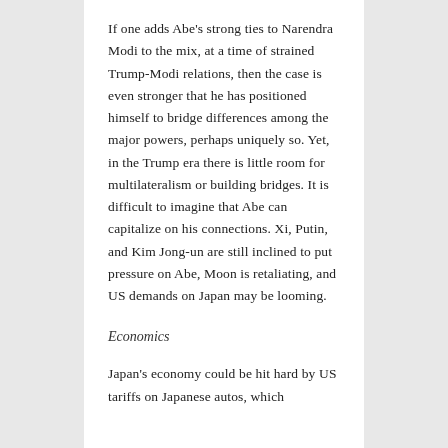If one adds Abe's strong ties to Narendra Modi to the mix, at a time of strained Trump-Modi relations, then the case is even stronger that he has positioned himself to bridge differences among the major powers, perhaps uniquely so. Yet, in the Trump era there is little room for multilateralism or building bridges. It is difficult to imagine that Abe can capitalize on his connections. Xi, Putin, and Kim Jong-un are still inclined to put pressure on Abe, Moon is retaliating, and US demands on Japan may be looming.
Economics
Japan's economy could be hit hard by US tariffs on Japanese autos, which